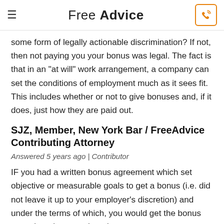Free Advice
some form of legally actionable discrimination? If not, then not paying you your bonus was legal. The fact is that in an "at will" work arrangement, a company can set the conditions of employment much as it sees fit. This includes whether or not to give bonuses and, if it does, just how they are paid out.
SJZ, Member, New York Bar / FreeAdvice Contributing Attorney
Answered 5 years ago | Contributor
IF you had a written bonus agreement which set objective or measurable goals to get a bonus (i.e. did not leave it up to your employer’s discretion) and under the terms of which, you would get the bonus even though you resigned